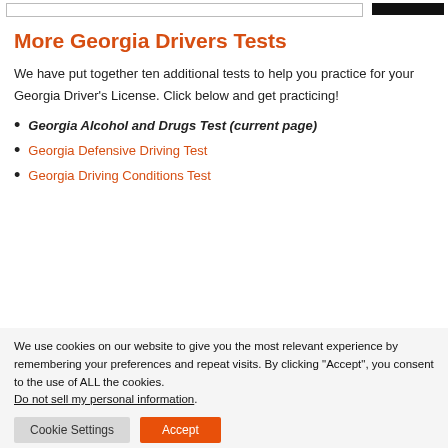More Georgia Drivers Tests
We have put together ten additional tests to help you practice for your Georgia Driver's License. Click below and get practicing!
Georgia Alcohol and Drugs Test (current page)
Georgia Defensive Driving Test
Georgia Driving Conditions Test
We use cookies on our website to give you the most relevant experience by remembering your preferences and repeat visits. By clicking “Accept”, you consent to the use of ALL the cookies. Do not sell my personal information.